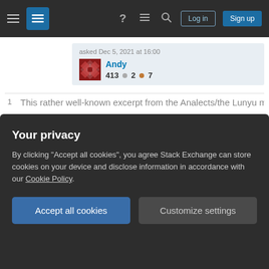Stack Exchange navigation bar with hamburger menu, logo, help, chat, search icons, Log in and Sign up buttons
asked Dec 5, 2021 at 16:00 — Andy 413 ● 2 ● 7
2  I am not really sure whether "Confucius lived 500 BCE" implies "Chinese and Korean migrants were very Confucian around 0 CE". – Jan Dec 5, 2021 at 17:17
Thank you. Seems it does not. "In Japan, Confucianism stands, along with Buddhism, as a major religio-philosophical teaching introduced from the larger Asian cultural arena at the dawn of civilization in Japanese history, roughly the mid-sixth century."
Your privacy
By clicking "Accept all cookies", you agree Stack Exchange can store cookies on your device and disclose information in accordance with our Cookie Policy.
Accept all cookies
Customize settings
1  This rather well-known excerpt from the Analects/the Lunyu might be relevant when discussing the role of